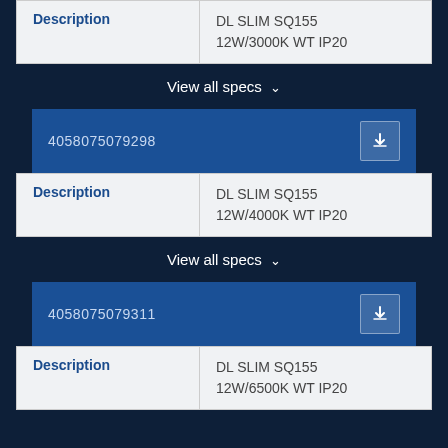| Description |  |
| --- | --- |
| Description | DL SLIM SQ155
12W/3000K WT IP20 |
View all specs ∨
| 4058075079298 |  |
| --- | --- |
| Description | DL SLIM SQ155
12W/4000K WT IP20 |
View all specs ∨
| 4058075079311 |  |
| --- | --- |
| Description | DL SLIM SQ155
12W/6500K WT IP20 |